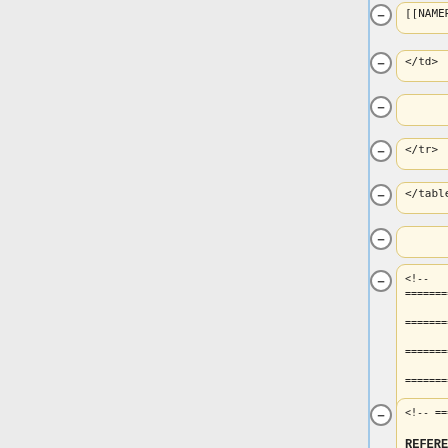[Figure (screenshot): Diff viewer showing HTML code changes. Left column shows removed lines (yellow boxes) with minus buttons, right column shows added lines (blue boxes) with plus buttons. Rows include: [[...]], </td>, empty, </tr>, </table>, empty, a long HTML comment with equals signs, a comment block with REFERENCE: TITLE, and another comment block.]